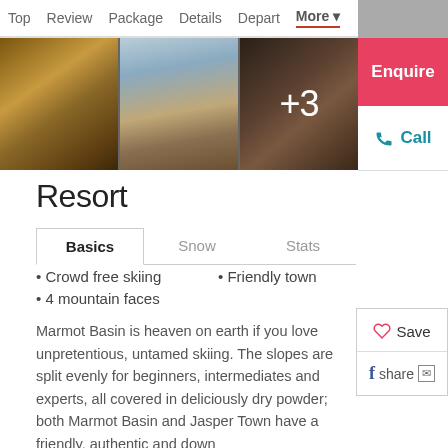Top  Review  Package  Details  Depart  More
[Figure (photo): Three hotel interior photos: a warm lounge with wood and lamp, a restaurant/bar with glass ceiling and mountain view, and a dimly lit bedroom; the third photo shows +3 overlay indicating more photos]
Resort
Basics  Snow  Stats (tab navigation)
Crowd free skiing
Friendly town
4 mountain faces
Marmot Basin is heaven on earth if you love unpretentious, untamed skiing. The slopes are split evenly for beginners, intermediates and experts, all covered in deliciously dry powder; both Marmot Basin and Jasper Town have a friendly, authentic and down